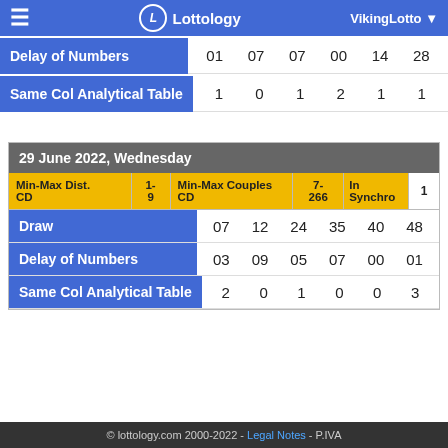≡  Lottology  VikingLotto ▼
| Delay of Numbers | 01 | 07 | 07 | 00 | 14 | 28 |
| --- | --- | --- | --- | --- | --- | --- |
| Same Col Analytical Table | 1 | 0 | 1 | 2 | 1 | 1 |
29 June 2022, Wednesday
| Min-Max Dist. CD | 1-9 | Min-Max Couples CD | 7-266 | In Synchro | 1 |
| --- | --- | --- | --- | --- | --- |
| Draw |  |  | 07 | 12 | 24 | 35 | 40 | 48 |
| Delay of Numbers |  |  | 03 | 09 | 05 | 07 | 00 | 01 |
| Same Col Analytical Table |  |  | 2 | 0 | 1 | 0 | 0 | 3 |
© lottology.com 2000-2022 - Legal Notes - P.IVA